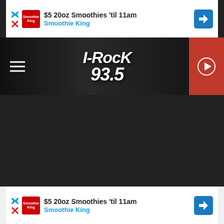[Figure (screenshot): Top advertisement banner: '$5 20oz Smoothies til 11am / Smoothie King' with blue arrow icon]
[Figure (screenshot): I-Rock 93.5 radio station header with hamburger menu and red play button]
LISTEN NOW ▶  I-ROCK 93.5
[Figure (screenshot): Facebook Share button (blue) and Twitter Tweet button (light blue)]
[Figure (screenshot): Video thumbnail: Q&A: Demi Lovato Felt 'Stale' Perf... with DEMI LOVATO EXCLUSIVE overlay and play button. Also listen on: Amazon Alexa bar at bottom.]
[Figure (screenshot): Bottom advertisement banner: '$5 20oz Smoothies til 11am / Smoothie King' with blue arrow icon]